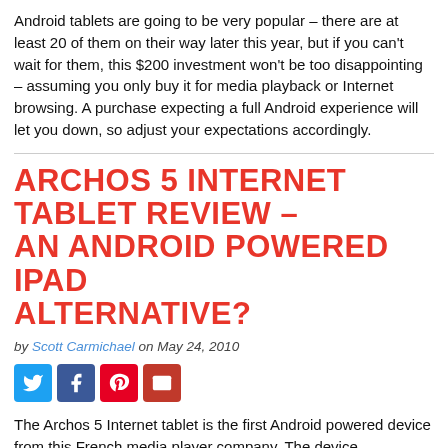Android tablets are going to be very popular – there are at least 20 of them on their way later this year, but if you can't wait for them, this $200 investment won't be too disappointing – assuming you only buy it for media playback or Internet browsing. A purchase expecting a full Android experience will let you down, so adjust your expectations accordingly.
ARCHOS 5 INTERNET TABLET REVIEW – AN ANDROID POWERED IPAD ALTERNATIVE?
by Scott Carmichael on May 24, 2010
[Figure (infographic): Row of four social sharing buttons: Twitter (blue bird), Facebook (blue f), Pinterest (red P), Email (red envelope)]
The Archos 5 Internet tablet is the first Android powered device from this French media player company. The device